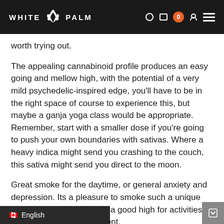WHITE PALM
worth trying out.
The appealing cannabinoid profile produces an easy going and mellow high, with the potential of a very mild psychedelic-inspired edge, you'll have to be in the right space of course to experience this, but maybe a ganja yoga class would be appropriate. Remember, start with a smaller dose if you're going to push your own boundaries with sativas. Where a heavy indica might send you crashing to the couch, this sativa might send you direct to the moon.
Great smoke for the daytime, or general anxiety and depression. Its a pleasure to smoke such a unique bouquet, and it's probably a good high for activities that still require engagement.
If you're looking for something you used to smoke 20-50 years ago, or you're the progeny of such an individual, and th... sibly heard the story of the incredible S... d to score. Well, you'll probably be reliving